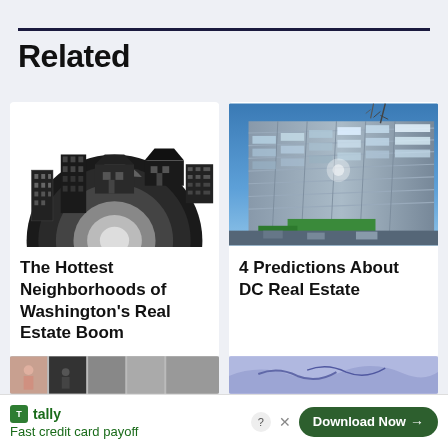Related
[Figure (illustration): Illustration of various building types (apartment blocks, houses) arranged around a large dark circular lens or dial element, on a white background.]
The Hottest Neighborhoods of Washington's Real Estate Boom
[Figure (photo): Photograph of a modern multi-story glass and steel building under a blue sky with bare tree branches visible.]
4 Predictions About DC Real Estate
[Figure (photo): Partial bottom strip showing thumbnail images on the left and a purple/blue toned image on the right.]
[Figure (infographic): Advertisement banner for Tally app: green logo, text 'tally Fast credit card payoff', with a 'Download Now' button on the right, and help/close icons.]